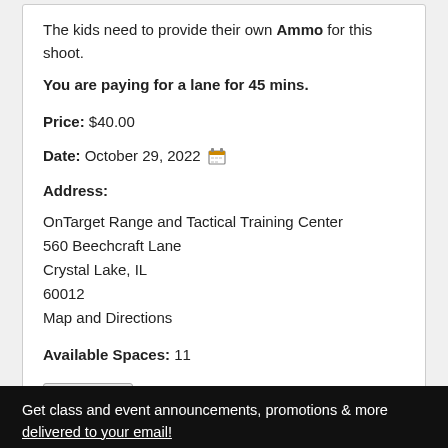The kids need to provide their own Ammo for this shoot.
You are paying for a lane for 45 mins.
Price: $40.00
Date: October 29, 2022
Address:
OnTarget Range and Tactical Training Center
560 Beechcraft Lane
Crystal Lake, IL
60012
Map and Directions
Available Spaces: 11
Register  or  Add to Cart
Get class and event announcements, promotions & more delivered to your email!